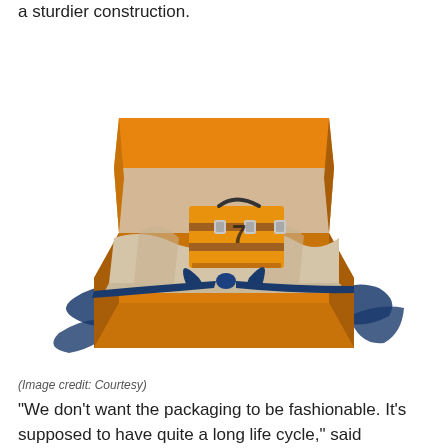a sturdier construction.
[Figure (photo): An open orange Louis Vuitton gift box with a blue ribbon bow, containing a small orange LV trunk/bag wrapped in beige tissue paper, photographed on a white background.]
(Image credit: Courtesy)
"We don't want the packaging to be fashionable. It's supposed to have quite a long life cycle," said chairman